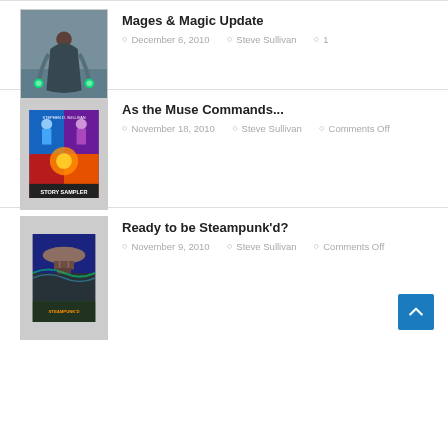[Figure (photo): Book cover or fantasy illustration showing a figure in a cloak with glowing green orbs]
Mages & Magic Update
December 6, 2010  Steve Sullivan  1
[Figure (photo): Stephen D. Sullivan Story Sampler book cover with multiple characters and sci-fi/fantasy imagery]
As the Muse Commands...
November 18, 2010  Steve Sullivan  Comments Off
[Figure (photo): Steampunk book cover showing an airship]
Ready to be Steampunk'd?
November 9, 2010  Steve Sullivan  Comments Off